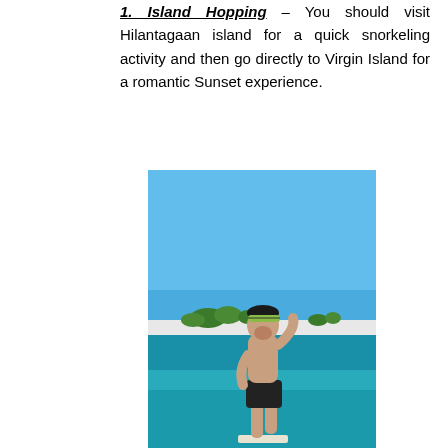1. Island Hopping – You should visit Hilantagaan island for a quick snorkeling activity and then go directly to Virgin Island for a romantic Sunset experience.
[Figure (photo): A shirtless man wearing a patterned headband standing on a paddleboard or boat on clear turquoise water, with a tropical island with trees visible in the background under a bright blue sky.]